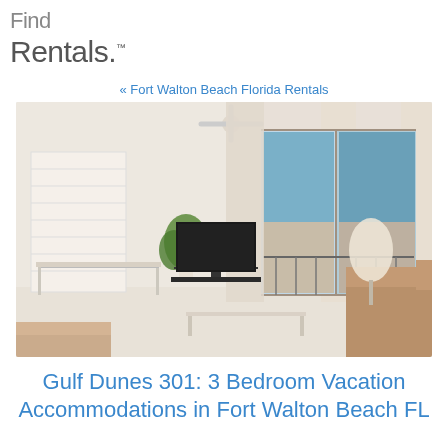Find Rentals.
« Fort Walton Beach Florida Rentals
[Figure (photo): Interior living room of a beach condo showing a couch, coffee table, TV, potted plant, and sliding glass doors opening to a balcony with an ocean view.]
Gulf Dunes 301: 3 Bedroom Vacation Accommodations in Fort Walton Beach FL